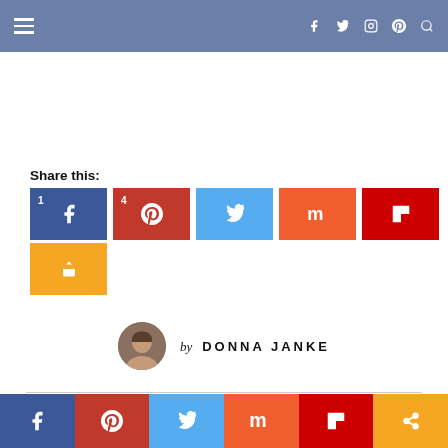Navigation header with hamburger menu and social icons (Facebook, Twitter, Instagram, Pinterest, Search)
Share this:
[Figure (infographic): Social share buttons: Facebook (count 1), Pinterest (count 4), Twitter, Mix, Flipboard, and a generic share button]
by DONNA JANKE
Bottom bar with Facebook, Pinterest, Twitter, Mix, Flipboard, Share buttons